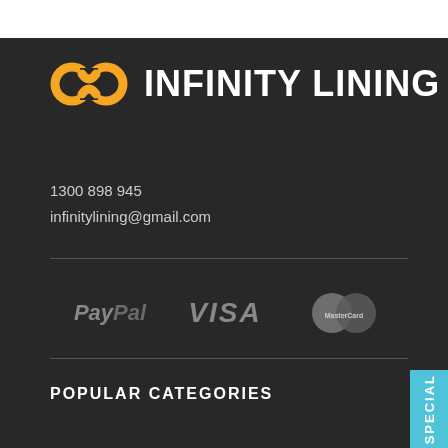[Figure (logo): Infinity Lining logo with orange infinity symbol and white bold text reading INFINITY LINING]
1300 898 945
infinitylining@gmail.com
[Figure (infographic): Payment method logos: PayPal, VISA, MasterCard displayed in dark grey tones]
POPULAR CATEGORIES
[Figure (other): Blue vertical side tab with text SPECIAL]